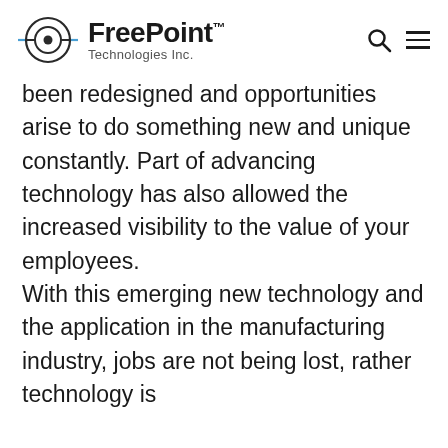FreePoint™ Technologies Inc.
been redesigned and opportunities arise to do something new and unique constantly. Part of advancing technology has also allowed the increased visibility to the value of your employees.
With this emerging new technology and the application in the manufacturing industry, jobs are not being lost, rather technology is